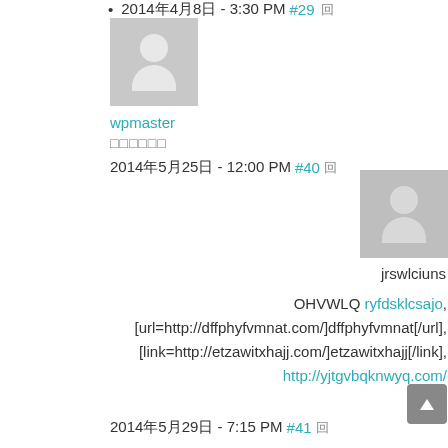2014年4月8日 - 3:30 PM #29 回
[Figure (illustration): Gray avatar placeholder image with silhouette - left side user wpmaster]
wpmaster
□□□□□□
2014年5月25日 - 12:00 PM #40 回
[Figure (illustration): Gray avatar placeholder image with silhouette - right side user jrswlciuns]
jrswlciuns
OHVWLQ ryfdsklcsajo, [url=http://dffphyfvmnat.com/]dffphyfvmnat[/url], [link=http://etzawitxhajj.com/]etzawitxhajj[/link], http://yjtgvbqknwyq.com/
2014年5月29日 - 7:15 PM #41 回